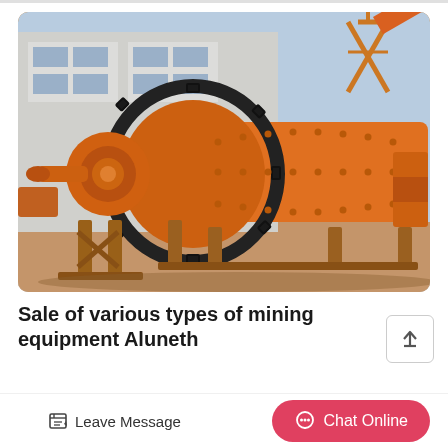[Figure (photo): Large orange industrial ball mill mining equipment photographed outdoors in front of a factory building. The machine features a large cylindrical drum with a prominent black gear ring, mounted on a steel frame. A crane structure is visible in the background on the right side.]
Sale of various types of mining equipment Aluneth